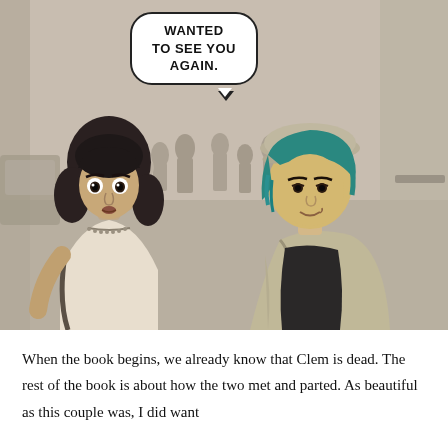[Figure (illustration): A graphic novel / comic panel in pencil-sketch style with muted sepia/grey tones. On the left stands a young woman with dark shoulder-length hair, wide eyes, wearing a sleeveless top with a beaded neckline and a crossbody bag. On the right stands a young person with bright teal/blue hair wearing a newsboy cap, dark tank top, and open jacket, smiling slightly. In the background is a busy street scene with several pedestrians. A speech bubble near the top center reads 'WANTED TO SEE YOU AGAIN.']
When the book begins, we already know that Clem is dead. The rest of the book is about how the two met and parted. As beautiful as this couple was, I did want to know more about some of the resilience and grace shown here. She has...